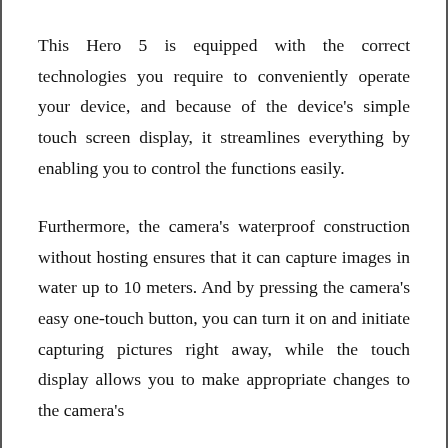This Hero 5 is equipped with the correct technologies you require to conveniently operate your device, and because of the device's simple touch screen display, it streamlines everything by enabling you to control the functions easily.
Furthermore, the camera's waterproof construction without hosting ensures that it can capture images in water up to 10 meters. And by pressing the camera's easy one-touch button, you can turn it on and initiate capturing pictures right away, while the touch display allows you to make appropriate changes to the camera's